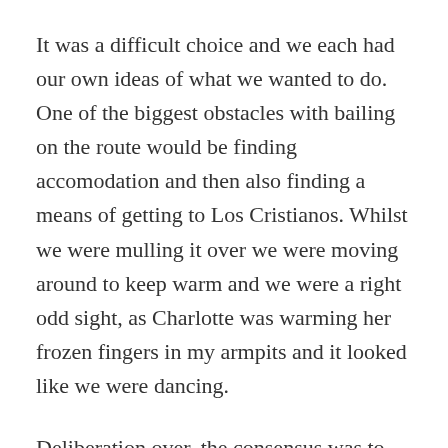It was a difficult choice and we each had our own ideas of what we wanted to do. One of the biggest obstacles with bailing on the route would be finding accomodation and then also finding a means of getting to Los Cristianos. Whilst we were mulling it over we were moving around to keep warm and we were a right odd sight, as Charlotte was warming her frozen fingers in my armpits and it looked like we were dancing.
Deliberation over, the consensus was to keep going to La Caldera as we had to go down to it anyway and we could then review the situation when we got there. So off came the warm dry layers and on went the cold wet ones as we began the descent to the road. I very rarely feel like I don't want to ride a downhill but this one was cold and long.
Arriving at La Caldera we rode into the picnic area and the